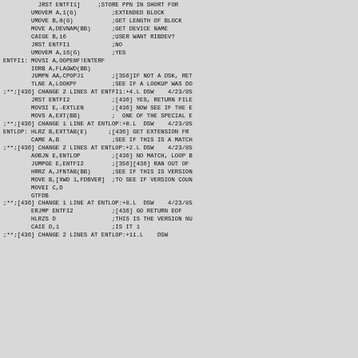Assembly source code listing with comments, showing ENTFI1 and ENTLOP routines with change markers